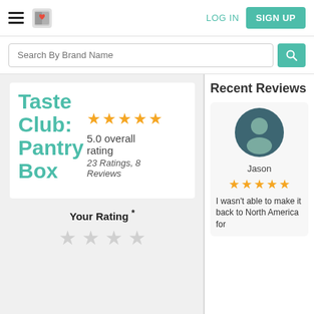LOG IN  SIGN UP
Search By Brand Name
Taste Club: Pantry Box
5.0 overall rating
23 Ratings, 8 Reviews
Your Rating *
Recent Reviews
Jason
I wasn't able to make it back to North America for